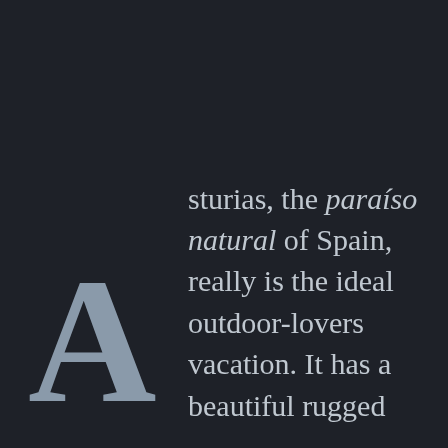Asturias, the paraíso natural of Spain, really is the ideal outdoor-lovers vacation. It has a beautiful rugged